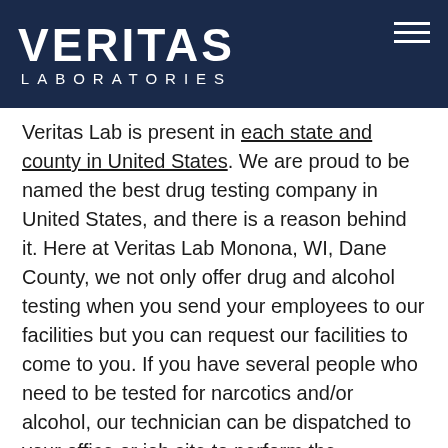VERITAS LABORATORIES
Veritas Lab is present in each state and county in United States. We are proud to be named the best drug testing company in United States, and there is a reason behind it. Here at Veritas Lab Monona, WI, Dane County, we not only offer drug and alcohol testing when you send your employees to our facilities but you can request our facilities to come to you. If you have several people who need to be tested for narcotics and/or alcohol, our technician can be dispatched to your office or job site to perform the collection. Onsite drug testing is a solution that can save you time and money. Each time you send your employees to the clinic you have to take them off duty and compensate them for that time. If your worker is a drug addict he/she